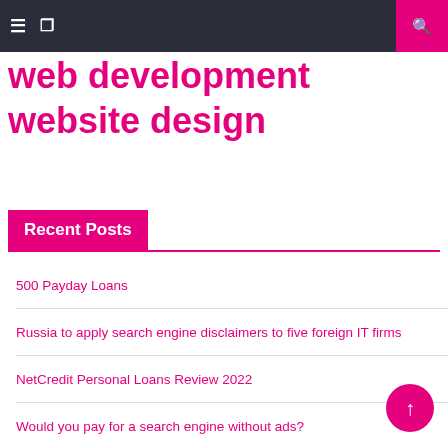Navigation bar with hamburger menu and search icon
web development
website design
Recent Posts
500 Payday Loans
Russia to apply search engine disclaimers to five foreign IT firms
NetCredit Personal Loans Review 2022
Would you pay for a search engine without ads?
E-commerce sales spike to record. Retail sales ex gas stations, car dealerships Go to record. Falling gas prices and shortage of new vehicles are troubling these retailers